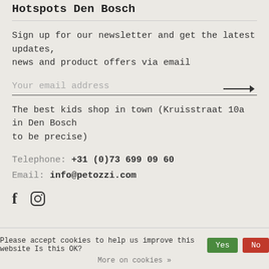Hotspots Den Bosch
Sign up for our newsletter and get the latest updates, news and product offers via email
Your email address
The best kids shop in town (Kruisstraat 10a in Den Bosch to be precise)
Telephone: +31 (0)73 699 09 60
Email: info@petozzi.com
[Figure (illustration): Facebook and Instagram social media icons]
Please accept cookies to help us improve this website Is this OK?
More on cookies »